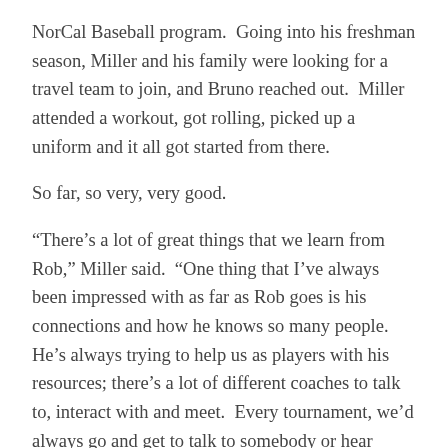NorCal Baseball program.  Going into his freshman season, Miller and his family were looking for a travel team to join, and Bruno reached out.  Miller attended a workout, got rolling, picked up a uniform and it all got started from there.
So far, so very, very good.
“There’s a lot of great things that we learn from Rob,” Miller said.  “One thing that I’ve always been impressed with as far as Rob goes is his connections and how he knows so many people.  He’s always trying to help us as players with his resources; there’s a lot of different coaches to talk to, interact with and meet.  Every tournament, we’d always go and get to talk to somebody or hear someone speak.  I think that’s something you can’t really find somewhere else with Rob being so close and connected to everyone.